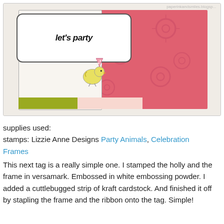[Figure (photo): A handmade party card featuring a yellow bird wearing a pink polka-dot party hat, set against a pink background with embossed flower designs. A decorative frame reads 'let's party' in bold script. The card has green and pink striped strips along the bottom. A watermark reads 'paperinkandsmiles.blogsp...' in the upper right corner.]
supplies used:
stamps: Lizzie Anne Designs Party Animals, Celebration Frames
This next tag is a really simple one. I stamped the holly and the frame in versamark. Embossed in white embossing powder. I added a cuttlebugged strip of kraft cardstock. And finished it off by stapling the frame and the ribbon onto the tag. Simple!